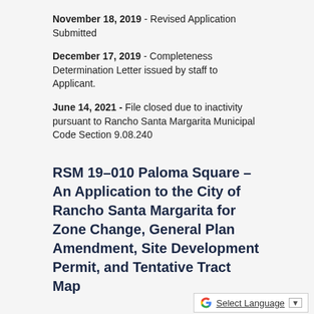November 18, 2019 - Revised Application Submitted
December 17, 2019 - Completeness Determination Letter issued by staff to Applicant.
June 14, 2021 - File closed due to inactivity pursuant to Rancho Santa Margarita Municipal Code Section 9.08.240
RSM 19-010 Paloma Square – An Application to the City of Rancho Santa Margarita for Zone Change, General Plan Amendment, Site Development Permit, and Tentative Tract Map